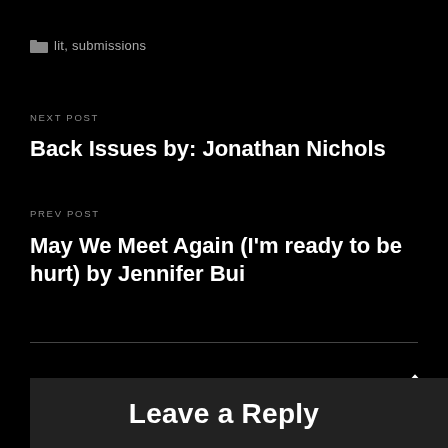lit, submissions
NEXT POST
Back Issues by: Jonathan Nichols
PREV POST
May We Meet Again (I'm ready to be hurt) by Jennifer Bui
Leave a Reply